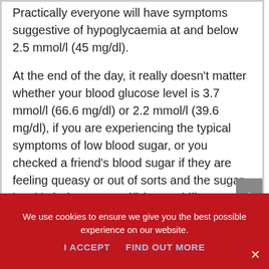Practically everyone will have symptoms suggestive of hypoglycaemia at and below 2.5 mmol/l (45 mg/dl).
At the end of the day, it really doesn't matter whether your blood glucose level is 3.7 mmol/l (66.6 mg/dl) or 2.2 mmol/l (39.6 mg/dl), if you are experiencing the typical symptoms of low blood sugar, or you checked a friend's blood sugar if they are feeling queasy or out of sorts and the sugar level is below 4 mmol/l (72 mg/dl), you might as well take necessary steps urgently to correct the problem.
We use cookies to ensure we give you the best possible experience on our website.